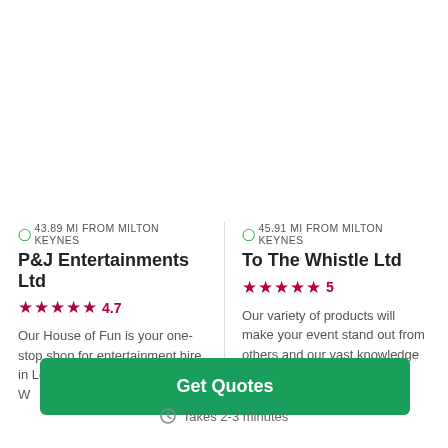43.89 MI FROM MILTON KEYNES
P&J Entertainments Ltd
★★★★★ 4.7
Our House of Fun is your one-stop shop for entertainment hire in London and the South-east. W...
45.91 MI FROM MILTON KEYNES
To The Whistle Ltd
★★★★★ 5
Our variety of products will make your event stand out from others and our vast knowledge...
Get Quotes
Takes 2-3 minutes